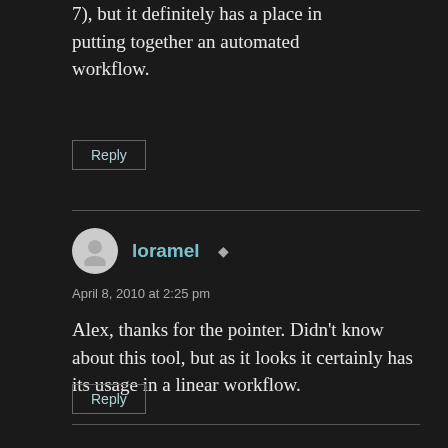7), but it definitely has a place in putting together an automated workflow.
Reply
loramel
April 8, 2010 at 2:25 pm
Alex, thanks for the pointer. Didn’t know about this tool, but as it looks it certainly has its usage in a linear workflow.
Reply